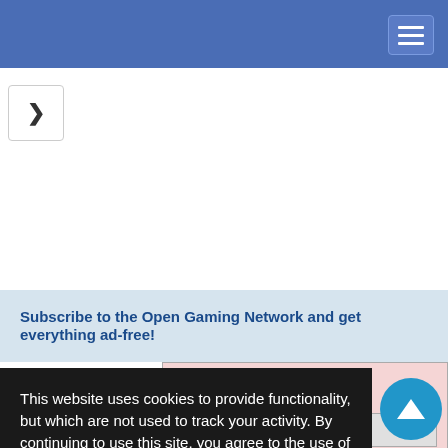Navigation bar with hamburger menu
[Figure (screenshot): Back navigation arrow button]
Subscribe to the Open Gaming Network and get everything ad-free!
[Figure (screenshot): Partial pink card showing srd.com URL and 'ased by' text with gray input box]
This website uses cookies to provide functionality, but which are not used to track your activity. By continuing to use this site, you agree to the use of these cookies.

However, in addition to this, you may opt into your activity being tracked in order to help us improve our service.

For more information, please click here
[Figure (screenshot): OK and No, thank you buttons for cookie consent]
aster whose nic spirit. The bond connecting the summoner and this spirit